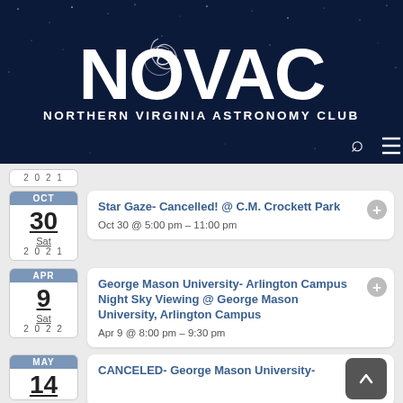[Figure (logo): NOVAC - Northern Virginia Astronomy Club logo on dark starry night sky background with search and menu icons]
2021 (partial calendar stub at top)
OCT 30 Sat 2021 - Star Gaze- Cancelled! @ C.M. Crockett Park - Oct 30 @ 5:00 pm - 11:00 pm
APR 9 Sat 2022 - George Mason University- Arlington Campus Night Sky Viewing @ George Mason University, Arlington Campus - Apr 9 @ 8:00 pm - 9:30 pm
MAY 14 - CANCELED- George Mason University- Arlington Campus Night Sky Viewing (partial)